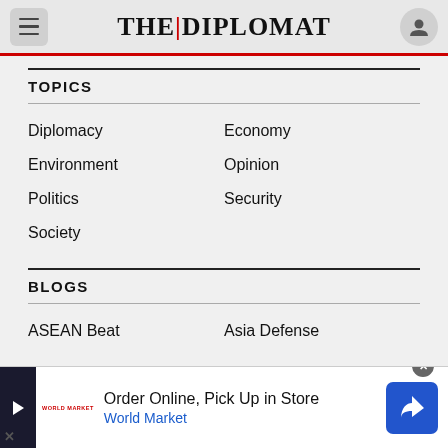THE|DIPLOMAT
TOPICS
Diplomacy
Economy
Environment
Opinion
Politics
Security
Society
BLOGS
ASEAN Beat
Asia Defense
[Figure (screenshot): Advertisement banner: Order Online, Pick Up in Store - World Market]